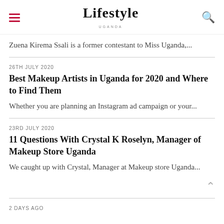Lifestyle
Zuena Kirema Ssali is a former contestant to Miss Uganda,...
26TH JULY 2020
Best Makeup Artists in Uganda for 2020 and Where to Find Them
Whether you are planning an Instagram ad campaign or your...
23RD JULY 2020
11 Questions With Crystal K Roselyn, Manager of Makeup Store Uganda
We caught up with Crystal, Manager at Makeup store Uganda...
2 DAYS AGO